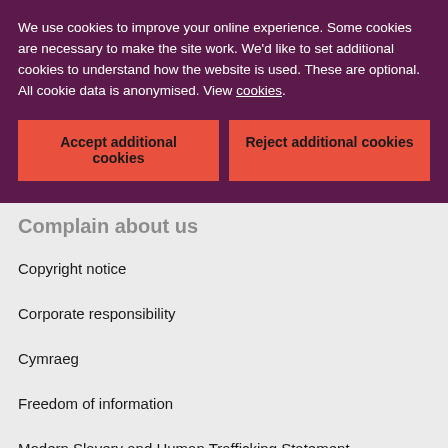We use cookies to improve your online experience. Some cookies are necessary to make the site work. We'd like to set additional cookies to understand how the website is used. These are optional. All cookie data is anonymised. View cookies.
Accept additional cookies
Reject additional cookies
Complain about us
Copyright notice
Corporate responsibility
Cymraeg
Freedom of information
Modern Slavery and Human Trafficking Statement
Privacy
Sitemap